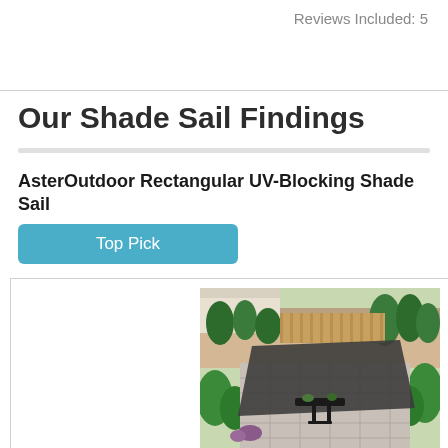Reviews Included: 5
Our Shade Sail Findings
AsterOutdoor Rectangular UV-Blocking Shade Sail
Top Pick
[Figure (photo): Aerial view of a backyard patio with a large dark gray rectangular shade sail stretched over a seating area, surrounded by green plants, garden beds, and a wood fence.]